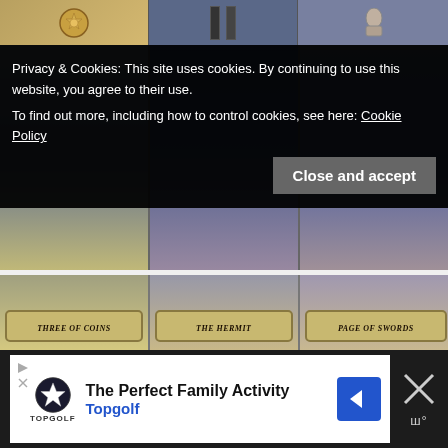[Figure (photo): Tarot cards displayed: Three of Coins, The Hermit, Page of Swords, with partial view at the top of the page.]
Privacy & Cookies: This site uses cookies. By continuing to use this website, you agree to their use.
To find out more, including how to control cookies, see here: Cookie Policy
Close and accept
[Figure (screenshot): Advertisement banner: The Perfect Family Activity - Topgolf, with Topgolf logo and a blue arrow button, and close (X) button.]